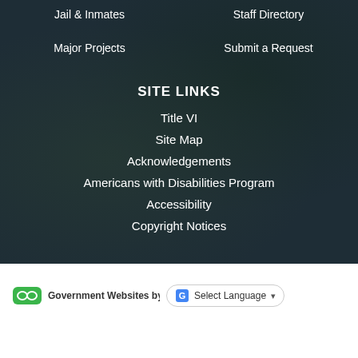Jail & Inmates
Staff Directory
Major Projects
Submit a Request
SITE LINKS
Title VI
Site Map
Acknowledgements
Americans with Disabilities Program
Accessibility
Copyright Notices
Government Websites by CivicPlus
Select Language